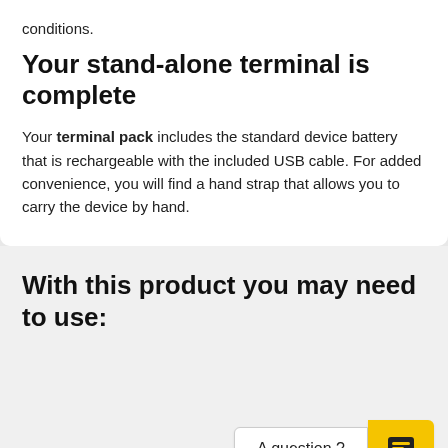conditions.
Your stand-alone terminal is complete
Your terminal pack includes the standard device battery that is rechargeable with the included USB cable. For added convenience, you will find a hand strap that allows you to carry the device by hand.
With this product you may need to use:
A question ?